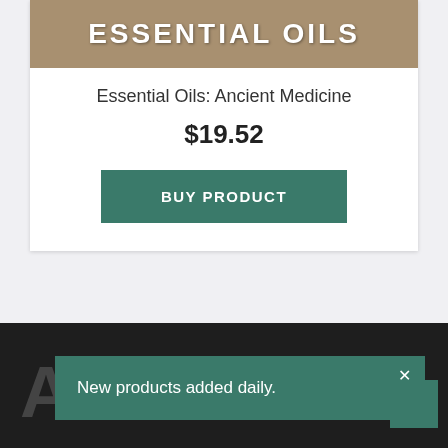[Figure (photo): Product image banner showing 'ESSENTIAL OILS' text on a warm beige/tan background]
Essential Oils: Ancient Medicine
$19.52
BUY PRODUCT
A
New products added daily.
✕